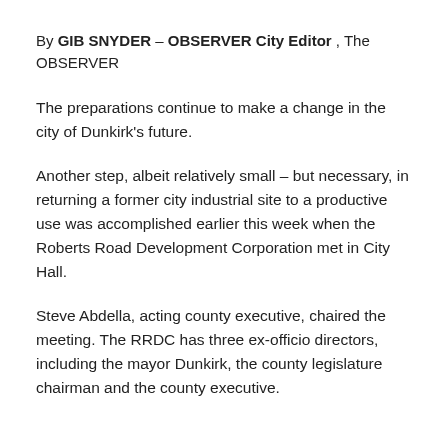By GIB SNYDER – OBSERVER City Editor , The OBSERVER
The preparations continue to make a change in the city of Dunkirk's future.
Another step, albeit relatively small – but necessary, in returning a former city industrial site to a productive use was accomplished earlier this week when the Roberts Road Development Corporation met in City Hall.
Steve Abdella, acting county executive, chaired the meeting. The RRDC has three ex-officio directors, including the mayor Dunkirk, the county legislature chairman and the county executive.